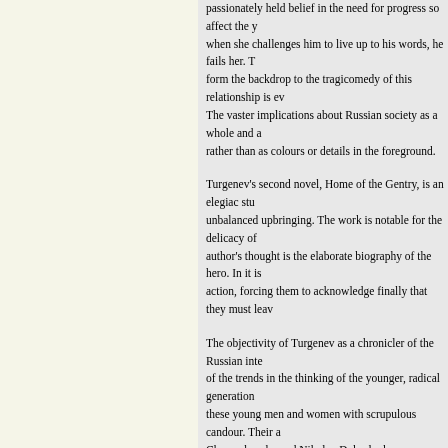passionately held belief in the need for progress so affect the y when she challenges him to live up to his words, he fails her. T form the backdrop to the tragicomedy of this relationship is ev The vaster implications about Russian society as a whole and a rather than as colours or details in the foreground.
Turgenev's second novel, Home of the Gentry, is an elegiac stu unbalanced upbringing. The work is notable for the delicacy of author's thought is the elaborate biography of the hero. In it is action, forcing them to acknowledge finally that they must leav
The objectivity of Turgenev as a chronicler of the Russian inte of the trends in the thinking of the younger, radical generation these young men and women with scrupulous candour. Their a Chernyshevsky and Nikolay Dobrolyubov, was generally cold forcefulness of these younger contemporaries. He moved away Chernyshevsky, using the short story "Asya" (1858) as his poi purpose. These attributes had obvious revolutionary implicatio opposed anything more radical, especially the idea of an insurg
The novel On the Eve (1860) deals with the problem facing the Russia on the eve of the emancipation of the serfs in 1861. It is it has several successful minor characters and some powerful s profound pessimism toward such matters. Such pessimism bec reconciliation between the liberalism of Turgenev's generation